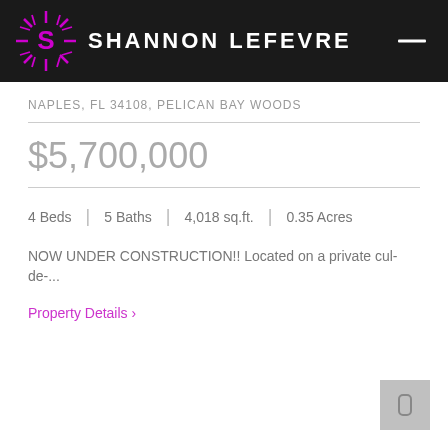SHANNON LEFEVRE
NAPLES, FL 34108, PELICAN BAY WOODS
$5,700,000
4 Beds | 5 Baths | 4,018 sq.ft. | 0.35 Acres
NOW UNDER CONSTRUCTION!! Located on a private cul-de-...
Property Details ›